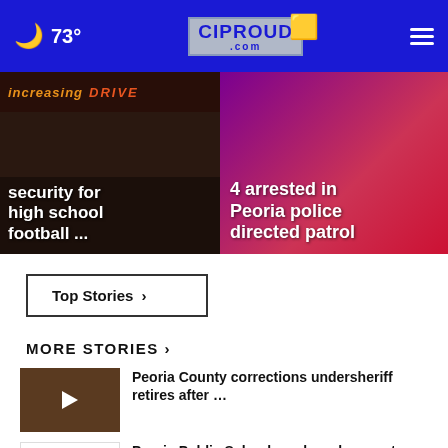🌙 73° | CIPROUD.com
[Figure (screenshot): Hero image left: increasing security for high school football news banner]
increasing security for high school football ...
[Figure (screenshot): Hero image right: 4 arrested in Peoria police directed patrol on red/purple background]
4 arrested in Peoria police directed patrol
Top Stories ›
MORE STORIES ›
[Figure (photo): Thumbnail with play button for Peoria County corrections undersheriff story]
Peoria County corrections undersheriff retires after …
[Figure (logo): Peoria Public Schools logo thumbnail]
Peoria Public Schools makes changes to football games …
[Figure (photo): Thumbnail with play button for Davis Bros. Pizza story]
Davis Bros. Pizza in East Peoria